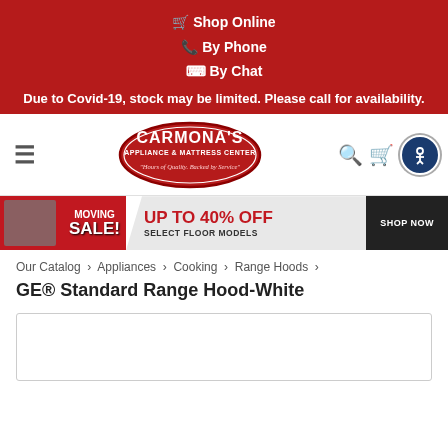🛒 Shop Online
📞 By Phone
⌨ By Chat
Due to Covid-19, stock may be limited. Please call for availability.
[Figure (logo): Carmona's Appliance & Mattress Center logo in red oval with tagline 'Hours of Quality. Backed by Service']
[Figure (infographic): Moving Sale! Up to 40% off select floor models. Shop Now.]
Our Catalog › Appliances › Cooking › Range Hoods ›
GE® Standard Range Hood-White
[Figure (photo): Product image placeholder box (empty white area with border)]